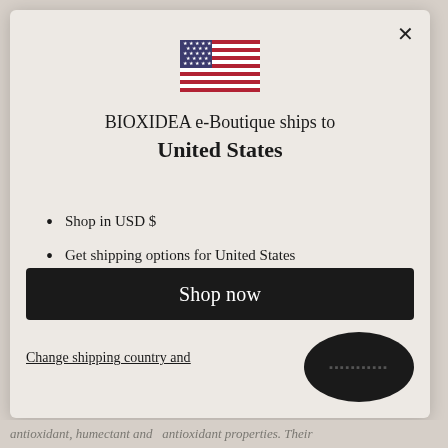[Figure (illustration): US flag icon with blue canton and stars, red and white stripes]
BIOXIDEA e-Boutique ships to United States
Shop in USD $
Get shipping options for United States
Language set to English
Shop now
Change shipping country and language
antioxidant, humectant and antioxidant properties. Their